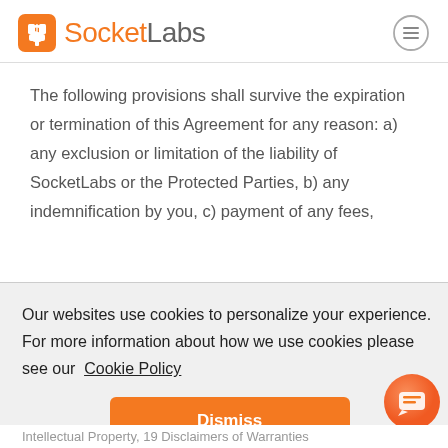SocketLabs
The following provisions shall survive the expiration or termination of this Agreement for any reason: a) any exclusion or limitation of the liability of SocketLabs or the Protected Parties, b) any indemnification by you, c) payment of any fees,
Our websites use cookies to personalize your experience. For more information about how we use cookies please see our Cookie Policy
Dismiss
Intellectual Property, 19 Disclaimers of Warranties